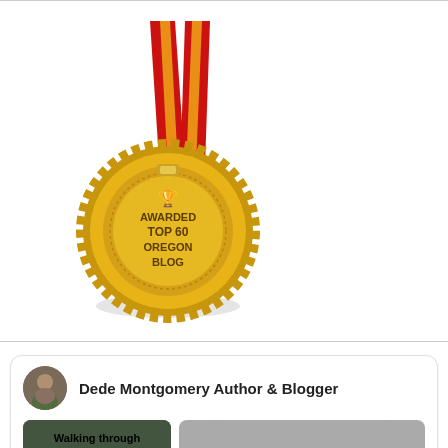[Figure (illustration): Gold medal with red and yellow ribbon on top. The medal reads 'AWARDED TOP 60 OREGON BLOG' with a trophy icon. The medal has a decorative scalloped gold edge.]
Dede Montgomery Author & Blogger
[Figure (photo): Thumbnail image with text overlay: 'Walking through dementia with a loved one?']
[Figure (photo): A second thumbnail image, grey/muted photo]